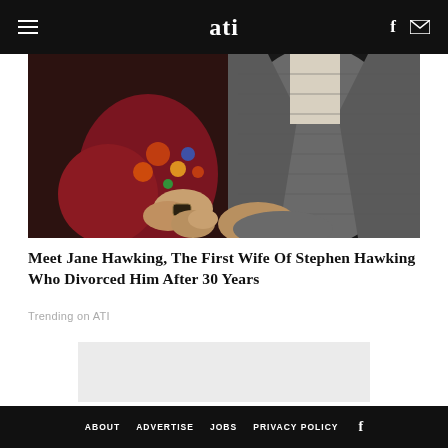ati
[Figure (photo): Close-up photo of two people arm-in-arm; one wearing a colorful floral top and the other wearing a grey tweed suit jacket]
Meet Jane Hawking, The First Wife Of Stephen Hawking Who Divorced Him After 30 Years
Trending on ATI
[Figure (other): Advertisement placeholder box (light grey rectangle)]
Remove Ads
ABOUT   ADVERTISE   JOBS   PRIVACY POLICY